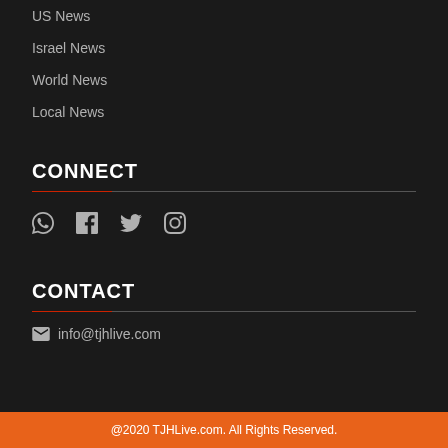US News
Israel News
World News
Local News
CONNECT
[Figure (other): Social media icons: WhatsApp, Facebook, Twitter, Instagram]
CONTACT
info@tjhlive.com
@2020 TJHLive.com. All Rights Reserved.